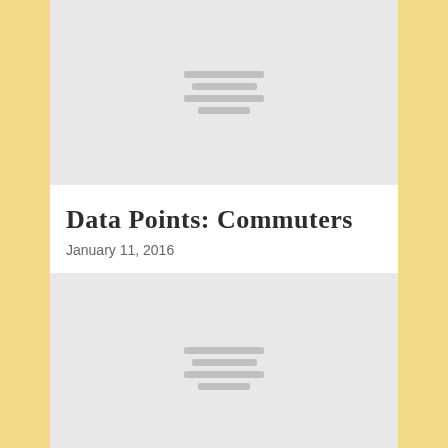[Figure (illustration): Gray placeholder image block with four horizontal lines centered, representing a loading or placeholder image thumbnail]
Data Points: Commuters
January 11, 2016
[Figure (illustration): Gray placeholder image block with four horizontal lines centered, representing a second loading or placeholder image thumbnail]